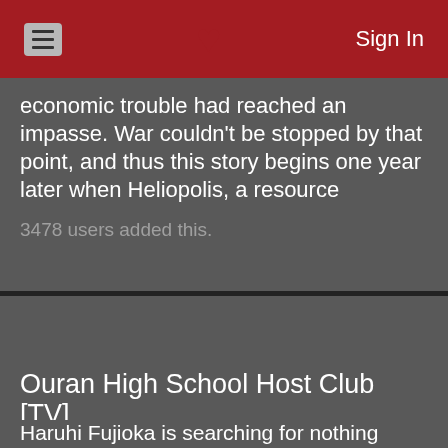Sign In
economic trouble had reached an impasse. War couldn't be stopped by that point, and thus this story begins one year later when Heliopolis, a resource
3478 users added this.
[Figure (illustration): Anime cover image for Ouran High School Host Club showing multiple characters in blue school uniforms]
Ouran High School Host Club [TV]
Animekid gave it a 8.
Haruhi Fujioka is searching for nothing more than a quiet place to study in the most elite high school academy in all of Japan when she stumbles across the mysterious third music room. Inside she encounters six beautiful men, the members of the host club